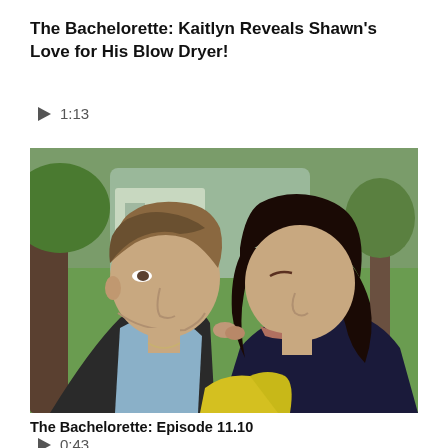The Bachelorette: Kaitlyn Reveals Shawn's Love for His Blow Dryer!
▶ 1:13
[Figure (photo): Two people kissing outdoors with green grass and trees visible in the background. One person has slicked-back hair and is wearing a dark jacket; the other has long dark hair.]
The Bachelorette: Episode 11.10
▶ 0:43